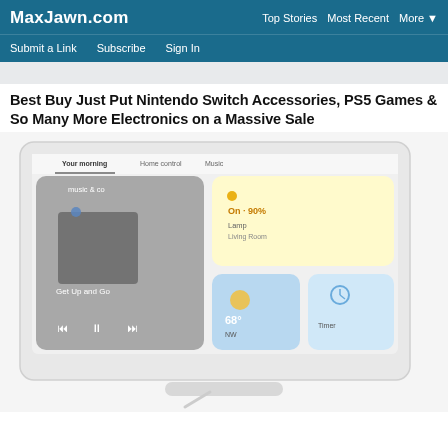MaxJawn.com | Top Stories  Most Recent  More ▼
Submit a Link   Subscribe   Sign In
Best Buy Just Put Nintendo Switch Accessories, PS5 Games & So Many More Electronics on a Massive Sale
[Figure (photo): A white Google Nest Hub smart display showing a home screen with music controls, smart home lights panel reading 'On · 90% Lamp Living Room', weather widget showing 68°, and a timer widget. The screen shows tabs: Your morning, Home control, Music.]